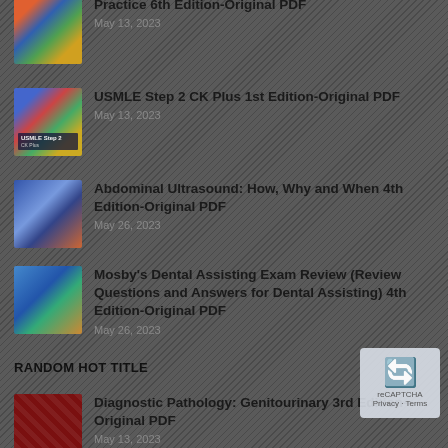Practice 6th Edition-Original PDF
USMLE Step 2 CK Plus 1st Edition-Original PDF
Abdominal Ultrasound: How, Why and When 4th Edition-Original PDF
Mosby's Dental Assisting Exam Review (Review Questions and Answers for Dental Assisting) 4th Edition-Original PDF
RANDOM HOT TITLE
Diagnostic Pathology: Genitourinary 3rd Edition-Original PDF